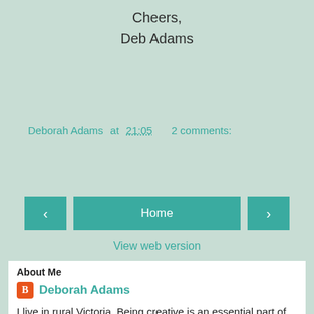Cheers,
Deb Adams
Deborah Adams at 21:05   2 comments:
Share
[Figure (other): Navigation bar with left arrow, Home button, and right arrow in teal]
View web version
About Me
Deborah Adams
I live in rural Victoria. Being creative is an essential part of my everyday life. My current interests are in paper crafting & painting. I have been a Design Team Member for Scrap FX & Paper Rose